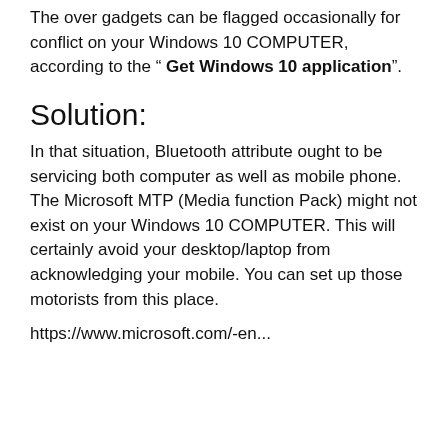The over gadgets can be flagged occasionally for conflict on your Windows 10 COMPUTER, according to the " Get Windows 10 application".
Solution:
In that situation, Bluetooth attribute ought to be servicing both computer as well as mobile phone. The Microsoft MTP (Media function Pack) might not exist on your Windows 10 COMPUTER. This will certainly avoid your desktop/laptop from acknowledging your mobile. You can set up those motorists from this place.
https://www.microsoft.com/-en...